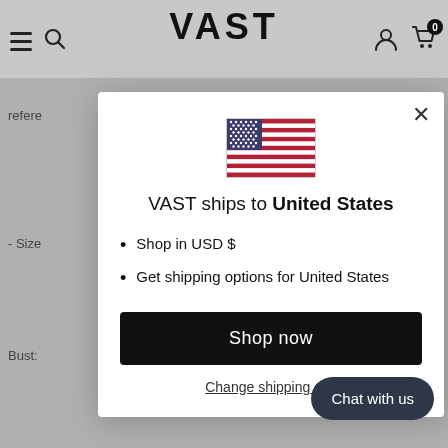[Figure (screenshot): VAST e-commerce website header with hamburger menu icon, search icon, VAST logo, user icon, and cart icon with 0 items. Background is gray with partially visible product page text.]
[Figure (infographic): Modal dialog: US flag image, title 'VAST ships to United States', bullet points 'Shop in USD $' and 'Get shipping options for United States', black 'Shop now' button, 'Change shipping country' link. Close X button in top right.]
[Figure (other): Dark rounded 'Chat with us' button in bottom right corner.]